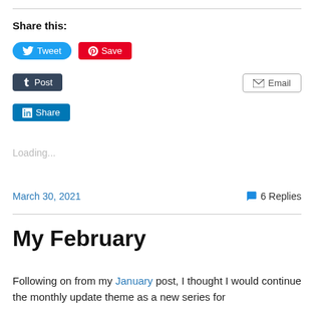Share this:
[Figure (infographic): Social sharing buttons: Tweet (blue pill), Save (red rectangle), Post (dark blue rectangle), Email (grey outlined rectangle), Share (blue rectangle with LinkedIn icon)]
Loading...
March 30, 2021   6 Replies
My February
Following on from my January post, I thought I would continue the monthly update theme as a new series for